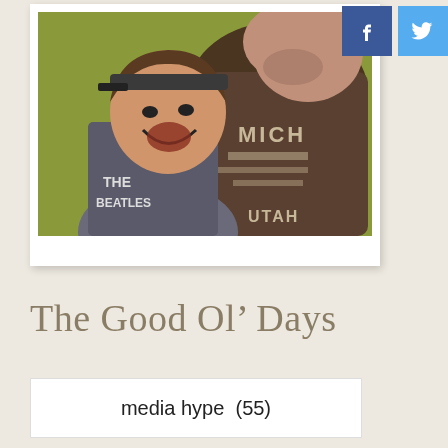[Figure (photo): A laughing child wearing a Beatles t-shirt and a cap, alongside an adult man wearing a Michigan/Utah graphic t-shirt, photographed against a yellow-green background. Presented as a polaroid-style photo with white border.]
[Figure (logo): Facebook 'f' icon button in blue square]
[Figure (logo): Twitter bird icon button in light blue square]
The Good Ol’ Days
media hype  (55)